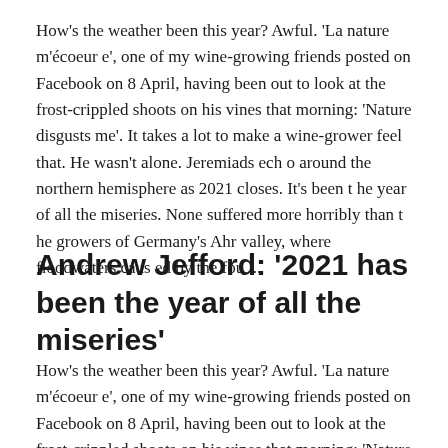How's the weather been this year? Awful. 'La nature m'écoeur e', one of my wine-growing friends posted on Facebook on 8 April, having been out to look at the frost-crippled shoots on his vines that morning: 'Nature disgusts me'. It takes a lot to make a wine-grower feel that. He wasn't alone. Jeremiads echo around the northern hemisphere as 2021 closes. It's been the year of all the miseries. None suffered more horribly than the growers of Germany's Ahr valley, where floodwaters caused by the fou ...
Andrew Jefford: '2021 has been the year of all the miseries'
How's the weather been this year? Awful. 'La nature m'écoeur e', one of my wine-growing friends posted on Facebook on 8 April, having been out to look at the frost-crippled shoots on his vines that morning: 'Nature disgusts me'. It takes a lot to make a wine-grower feel that. He wasn't alone. Jeremiads ach